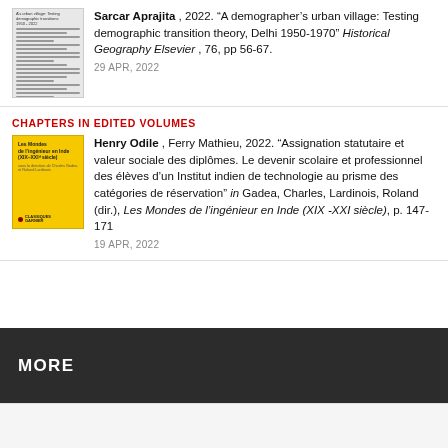Sarcar Aprajita , 2022. “A demographer’s urban village: Testing demographic transition theory, Delhi 1950-1970” Historical Geography Elsevier , 76, pp 56-67.
29 APR, 2022
CHAPTERS IN EDITED VOLUMES
Henry Odile , Ferry Mathieu, 2022. “Assignation statutaire et valeur sociale des diplômes. Le devenir scolaire et professionnel des élèves d’un Institut indien de technologie au prisme des catégories de réservation” in Gadea, Charles, Lardinois, Roland (dir.), Les Mondes de l’ingénieur en Inde (XIX -XXI siècle), p. 147-171
19 APR, 2022
MORE